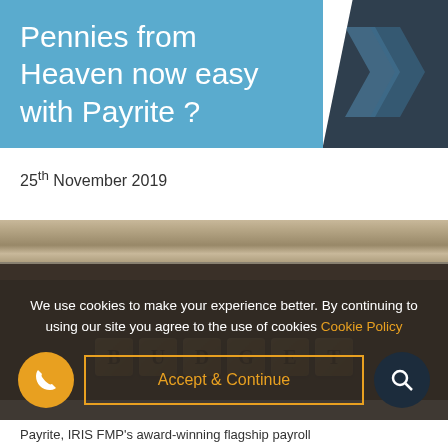Pennies from Heaven now easy with Payrite ?
25th November 2019
[Figure (photo): Wooden Scrabble-like letter tiles on a dark wooden surface spelling out letters, with wood-grain visible in the upper portion.]
We use cookies to make your experience better. By continuing to using our site you agree to the use of cookies Cookie Policy
Accept & Continue
Payrite, IRIS FMP's award-winning flagship payroll